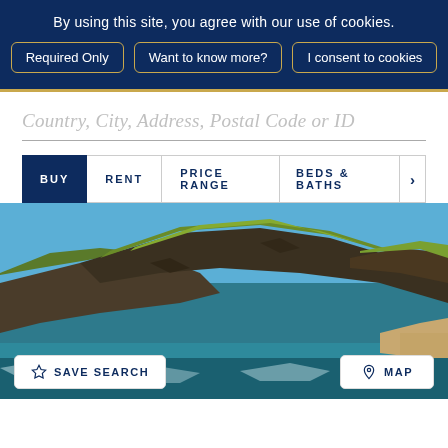By using this site, you agree with our use of cookies.
Required Only | Want to know more? | I consent to cookies
Country, City, Address, Postal Code or ID
BUY   RENT   PRICE RANGE   BEDS & BATHS   >
[Figure (photo): Aerial photo of a rocky coastal peninsula with green vegetation, dark cliffs meeting teal ocean water with waves crashing at the base.]
SAVE SEARCH   MAP